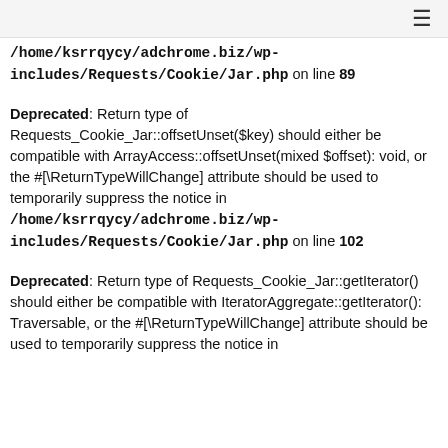Navigation bar with hamburger menu icon
/home/ksrrqycy/adchrome.biz/wp-includes/Requests/Cookie/Jar.php on line 89
Deprecated: Return type of Requests_Cookie_Jar::offsetUnset($key) should either be compatible with ArrayAccess::offsetUnset(mixed $offset): void, or the #[\ReturnTypeWillChange] attribute should be used to temporarily suppress the notice in /home/ksrrqycy/adchrome.biz/wp-includes/Requests/Cookie/Jar.php on line 102
Deprecated: Return type of Requests_Cookie_Jar::getIterator() should either be compatible with IteratorAggregate::getIterator(): Traversable, or the #[\ReturnTypeWillChange] attribute should be used to temporarily suppress the notice in